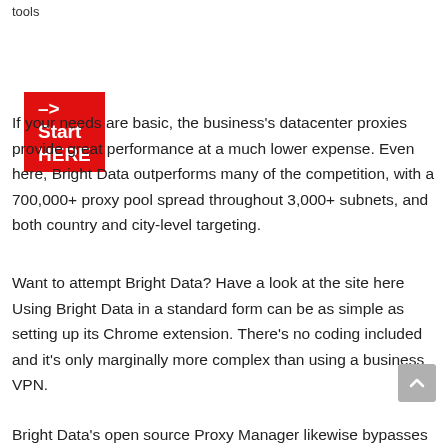tools
–> Start HERE
If your needs are basic, the business's datacenter proxies provide great performance at a much lower expense. Even here, Bright Data outperforms many of the competition, with a 700,000+ proxy pool spread throughout 3,000+ subnets, and both country and city-level targeting.
Want to attempt Bright Data? Have a look at the site here Using Bright Data in a standard form can be as simple as setting up its Chrome extension. There's no coding included and it's only marginally more complex than using a business VPN.
Bright Data's open source Proxy Manager likewise bypasses